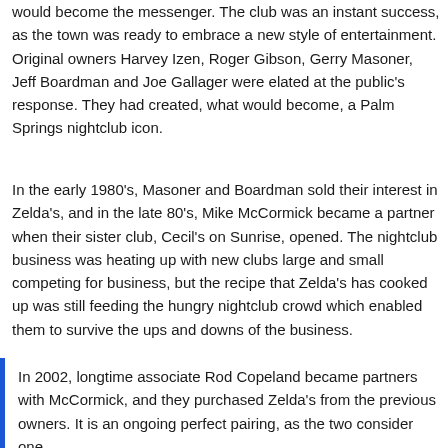would become the messenger. The club was an instant success, as the town was ready to embrace a new style of entertainment. Original owners Harvey Izen, Roger Gibson, Gerry Masoner, Jeff Boardman and Joe Gallager were elated at the public's response. They had created, what would become, a Palm Springs nightclub icon.
In the early 1980's, Masoner and Boardman sold their interest in Zelda's, and in the late 80's, Mike McCormick became a partner when their sister club, Cecil's on Sunrise, opened. The nightclub business was heating up with new clubs large and small competing for business, but the recipe that Zelda's has cooked up was still feeding the hungry nightclub crowd which enabled them to survive the ups and downs of the business.
In 2002, longtime associate Rod Copeland became partners with McCormick, and they purchased Zelda's from the previous owners. It is an ongoing perfect pairing, as the two consider one